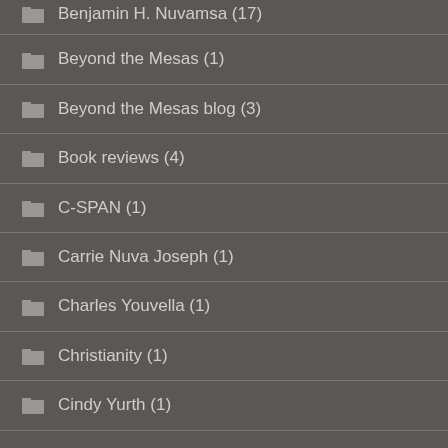Benjamin H. Nuvamsa (17)
Beyond the Mesas (1)
Beyond the Mesas blog (3)
Book reviews (4)
C-SPAN (1)
Carrie Nuva Joseph (1)
Charles Youvella (1)
Christianity (1)
Cindy Yurth (1)
COVID and Native Americans (2)